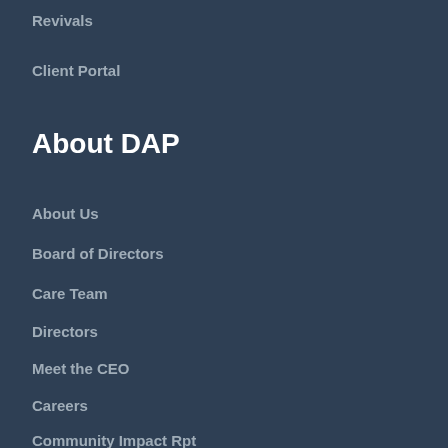Revivals
Client Portal
About DAP
About Us
Board of Directors
Care Team
Directors
Meet the CEO
Careers
Community Impact Rpt
Volunteer